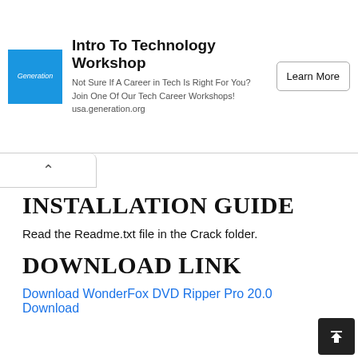[Figure (other): Advertisement banner for 'Intro To Technology Workshop' by Generation. Blue square logo on left, ad copy in center, 'Learn More' button on right.]
INSTALLATION GUIDE
Read the Readme.txt file in the Crack folder.
DOWNLOAD LINK
Download WonderFox DVD Ripper Pro 20.0 Download